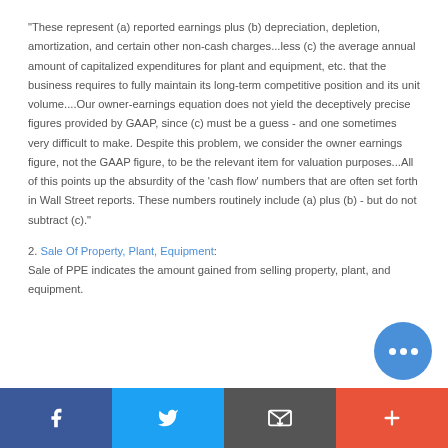"These represent (a) reported earnings plus (b) depreciation, depletion, amortization, and certain other non-cash charges...less (c) the average annual amount of capitalized expenditures for plant and equipment, etc. that the business requires to fully maintain its long-term competitive position and its unit volume....Our owner-earnings equation does not yield the deceptively precise figures provided by GAAP, since (c) must be a guess - and one sometimes very difficult to make. Despite this problem, we consider the owner earnings figure, not the GAAP figure, to be the relevant item for valuation purposes...All of this points up the absurdity of the 'cash flow' numbers that are often set forth in Wall Street reports. These numbers routinely include (a) plus (b) - but do not subtract (c)."
2. Sale Of Property, Plant, Equipment: Sale of PPE indicates the amount gained from selling property, plant, and equipment.